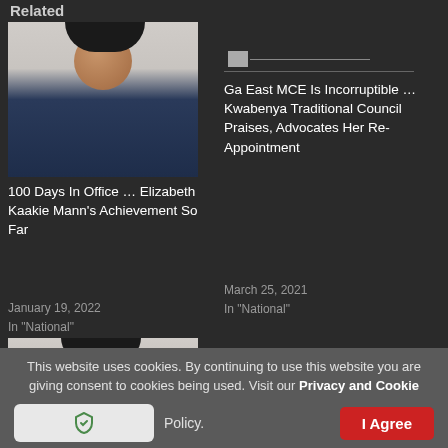Related
[Figure (photo): Portrait photo of a woman in dark blue shirt, short hair, smiling, grey background]
100 Days In Office … Elizabeth Kaakie Mann's Achievement So Far
January 19, 2022
In "National"
[Figure (photo): Broken/loading image placeholder with small icon and horizontal line]
Ga East MCE Is Incorruptible …Kwabenya Traditional Council Praises, Advocates Her Re-Appointment
March 25, 2021
In "National"
[Figure (photo): Partial portrait photo of a woman in dark blue shirt, short hair, smiling]
This website uses cookies. By continuing to use this website you are giving consent to cookies being used. Visit our Privacy and Cookie Policy.
I Agree